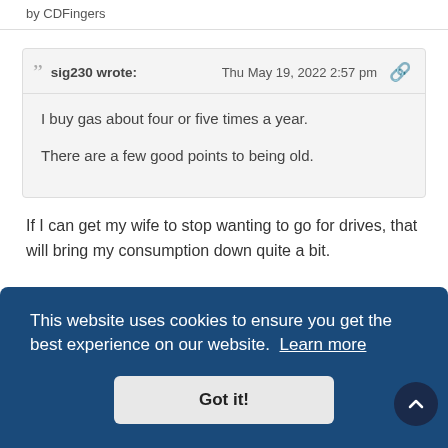by CDFingers
sig230 wrote:
Thu May 19, 2022 2:57 pm
I buy gas about four or five times a year.
There are a few good points to being old.
If I can get my wife to stop wanting to go for drives, that will bring my consumption down quite a bit.
This website uses cookies to ensure you get the best experience on our website. Learn more
Got it!